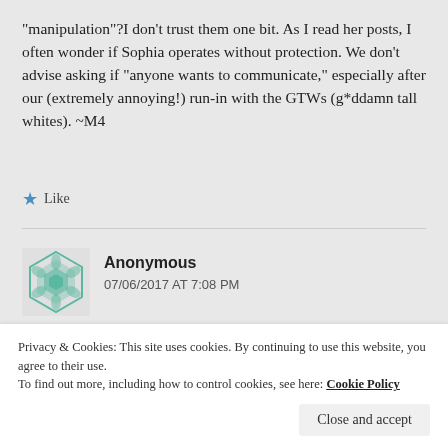“manipulation”?I don't trust them one bit. As I read her posts, I often wonder if Sophia operates without protection. We don't advise asking if “anyone wants to communicate,” especially after our (extremely annoying!) run-in with the GTWs (g*ddamn tall whites). ~M4
Like
Anonymous
07/06/2017 AT 7:08 PM
Privacy & Cookies: This site uses cookies. By continuing to use this website, you agree to their use.
To find out more, including how to control cookies, see here: Cookie Policy
Close and accept